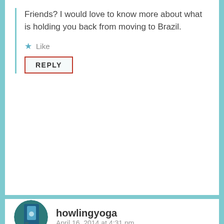Friends? I would love to know more about what is holding you back from moving to Brazil.
Like
REPLY
howlingyoga
April 16, 2014 at 4:31 pm
[Figure (photo): Circular avatar photo of howlingyoga user showing a person near a blue door]
You know, Ute, answering all your questions and elaborating about them sound like a blogpost itself. 🙂 Some quick answers for your questions: No, it would not be re-patriation for my daughters, just me and my husband. One specific person I miss very much every day is my mother. I am an only child and she is divorced, living by herself. She does not